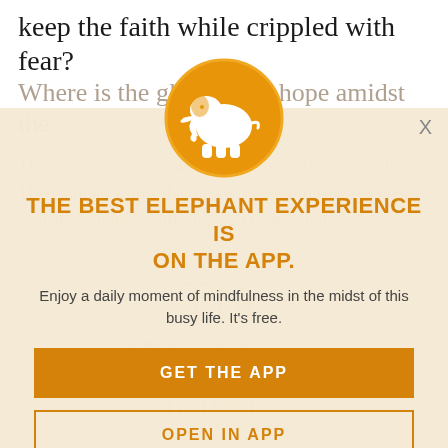keep the faith while crippled with fear?
Where is the glimmer of hope amidst the fields of loss and despair?
There are no easy answers. There is no simple solution. There are no words that make it easier to bear the depth of front as tumble suffering and depression.
[Figure (logo): Orange circle with white elephant silhouette logo]
THE BEST ELEPHANT EXPERIENCE IS ON THE APP.
Enjoy a daily moment of mindfulness in the midst of this busy life. It's free.
GET THE APP
OPEN IN APP